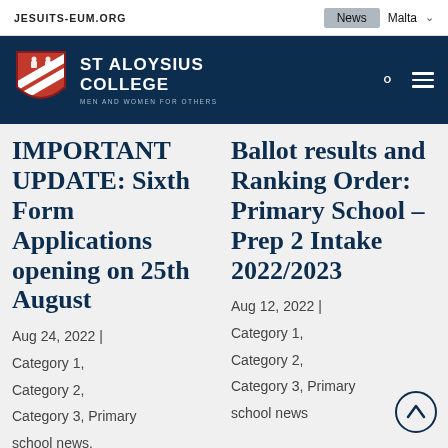JESUITS-EUM.ORG | News | Malta
[Figure (logo): St Aloysius College logo with shield and text: ST ALOYSIUS COLLEGE, MEN AND WOMEN FOR OTHERS]
IMPORTANT UPDATE: Sixth Form Applications opening on 25th August
Aug 24, 2022 | Category 1, Category 2, Category 3, Primary school news,
Ballot results and Ranking Order: Primary School – Prep 2 Intake 2022/2023
Aug 12, 2022 | Category 1, Category 2, Category 3, Primary school news